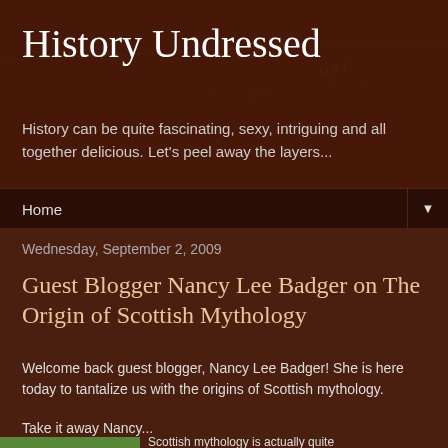History Undressed
History can be quite fascinating, sexy, intriguing and all together delicious. Let's peel away the layers...
Home ▼
Wednesday, September 2, 2009
Guest Blogger Nancy Lee Badger on The Origin of Scottish Mythology
Welcome back guest blogger, Nancy Lee Badger! She is here today to tantalize us with the origins of Scottish mythology.
Take it away Nancy...
Scottish mythology is actually quite